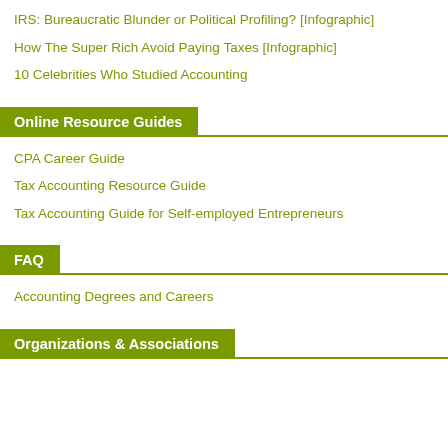IRS: Bureaucratic Blunder or Political Profiling? [Infographic]
How The Super Rich Avoid Paying Taxes [Infographic]
10 Celebrities Who Studied Accounting
Online Resource Guides
CPA Career Guide
Tax Accounting Resource Guide
Tax Accounting Guide for Self-employed Entrepreneurs
FAQ
Accounting Degrees and Careers
Organizations & Associations